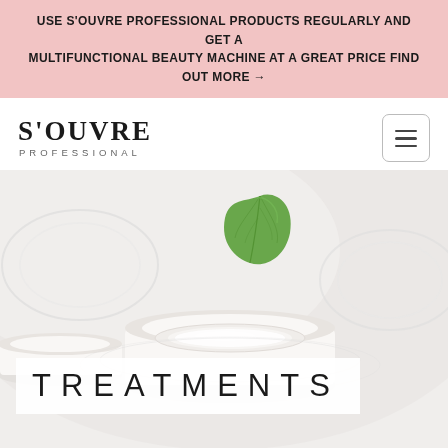USE S'OUVRE PROFESSIONAL PRODUCTS REGULARLY AND GET A MULTIFUNCTIONAL BEAUTY MACHINE AT A GREAT PRICE FIND OUT MORE →
[Figure (logo): S'OUVRE PROFESSIONAL logo with serif font and 'PROFESSIONAL' in spaced capitals below]
[Figure (other): Hamburger menu icon (three horizontal lines) inside a rounded rectangle border]
[Figure (photo): Beauty/skincare product photo showing white cream jars and a green leaf on a light background]
TREATMENTS